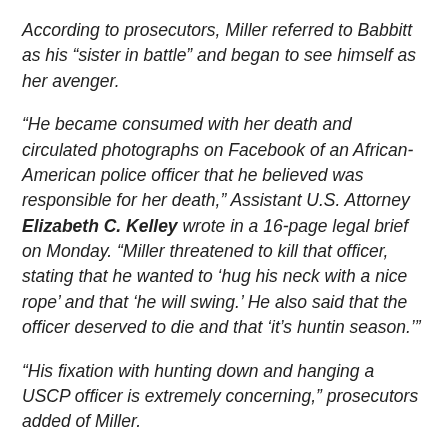According to prosecutors, Miller referred to Babbitt as his “sister in battle” and began to see himself as her avenger.
“He became consumed with her death and circulated photographs on Facebook of an African-American police officer that he believed was responsible for her death,” Assistant U.S. Attorney Elizabeth C. Kelley wrote in a 16-page legal brief on Monday. “Miller threatened to kill that officer, stating that he wanted to ‘hug his neck with a nice rope’ and that ‘he will swing.’ He also said that the officer deserved to die and that ‘it’s huntin season.’”
“His fixation with hunting down and hanging a USCP officer is extremely concerning,” prosecutors added of Miller.
Now facing a 12-count indictment, Miller has